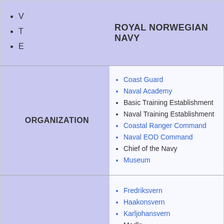ROYAL NORWEGIAN NAVY
V
T
E
ORGANIZATION
Coast Guard
Naval Academy
Basic Training Establishment
Naval Training Establishment
Coastal Ranger Command
Naval EOD Command
Chief of the Navy
Museum
Fredriksvern
Haakonsvern
Karljohansvern
Madla